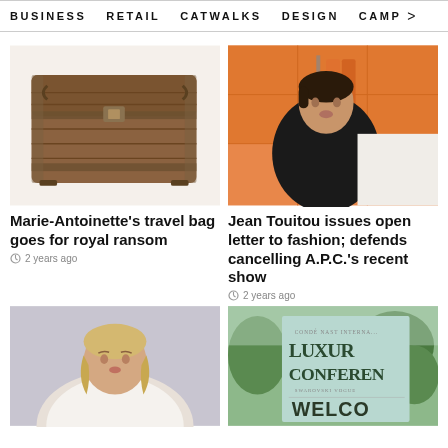BUSINESS   RETAIL   CATWALKS   DESIGN   CAMP >
[Figure (photo): An antique wooden travel trunk/chest with metal hardware on a white background]
Marie-Antoinette's travel bag goes for royal ransom
2 years ago
[Figure (photo): A man in a black sweater standing in front of orange clothing racks]
Jean Touitou issues open letter to fashion; defends cancelling A.P.C.'s recent show
2 years ago
[Figure (photo): A blonde woman in professional attire against a grey background]
[Figure (photo): A sign for Condé Nast International Luxury Conference with Swarovski and Vogue logos, outdoors with trees]